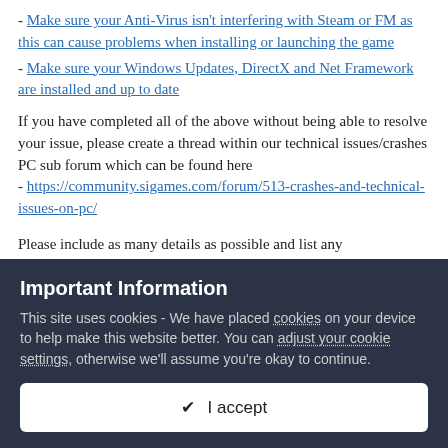- Make sure your Anti-Virus isn't interfering with Steam or FM as this can cause problems when installing or launching the game
- Make sure your Windows Updates, DirectX and Net Framework are installed and up to date
If you have completed all of the above without being able to resolve your issue, please create a thread within our technical issues/crashes PC sub forum which can be found here
- https://community.sigames.com/forum/513-crashes-and-technical-issues-on-pc/
Please include as many details as possible and list any troubleshooting techniques you've tried already so they can help you in the most efficient way.
Important Information
This site uses cookies - We have placed cookies on your device to help make this website better. You can adjust your cookie settings, otherwise we'll assume you're okay to continue.
✔  I accept